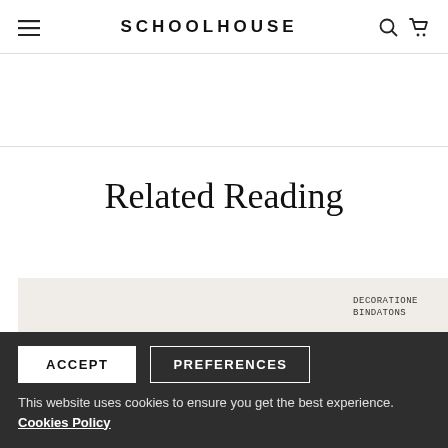SCHOOLHOUSE
Related Reading
[Figure (photo): Partial view of a product or lifestyle image with text/labels on a light beige background]
ACCEPT   PREFERENCES
This website uses cookies to ensure you get the best experience. Cookies Policy